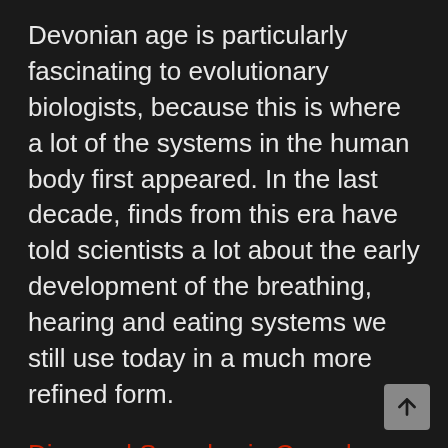Devonian age is particularly fascinating to evolutionary biologists, because this is where a lot of the systems in the human body first appeared. In the last decade, finds from this era have told scientists a lot about the early development of the breathing, hearing and eating systems we still use today in a much more refined form.
Diamond Samples in Canada Reveal Size of Lost Continent – (BBC News – March 21, 2020)
Canadian scientists were studying diamond samples from Baffin Island, a glacier-covered land mass near Greenland, when they noticed a remnant of North Atlantic...